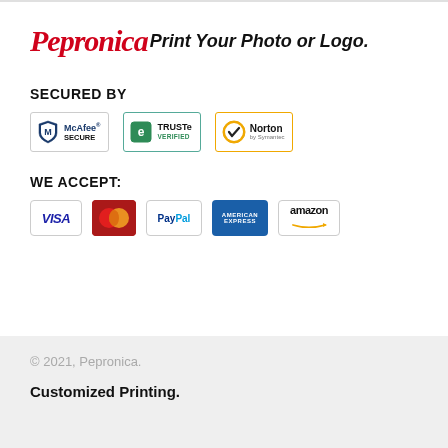Pepronica Print Your Photo or Logo.
SECURED BY
[Figure (logo): Security badges: McAfee SECURE, TRUSTe VERIFIED, Norton by Symantec]
WE ACCEPT:
[Figure (logo): Payment logos: VISA, Mastercard, PayPal, American Express, amazon]
© 2021, Pepronica.
Customized Printing.